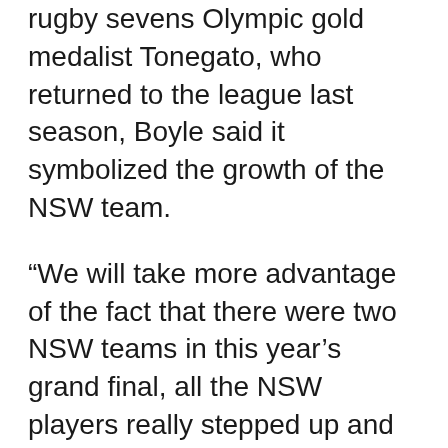rugby sevens Olympic gold medalist Tonegato, who returned to the league last season, Boyle said it symbolized the growth of the NSW team.
“We will take more advantage of the fact that there were two NSW teams in this year’s grand final, all the NSW players really stepped up and are here now,” he said.
“We’ll take it through Friday night.”
Fullback Tonegato seems the perfect addition to a NSW side that lacked spark in last year’s encounter, the Blues falling 8-6 to lose for the second year in a row.
Boyle said his teammates had carried that